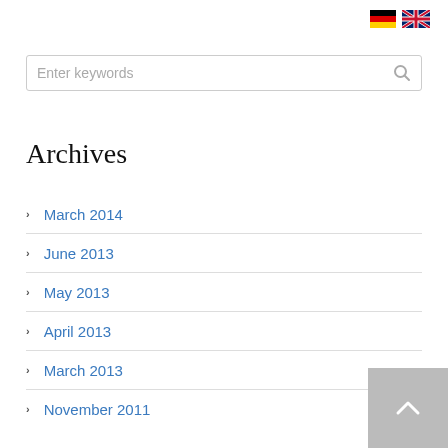[Figure (illustration): German and UK flag icons in the top right corner]
Enter keywords
Archives
March 2014
June 2013
May 2013
April 2013
March 2013
November 2011